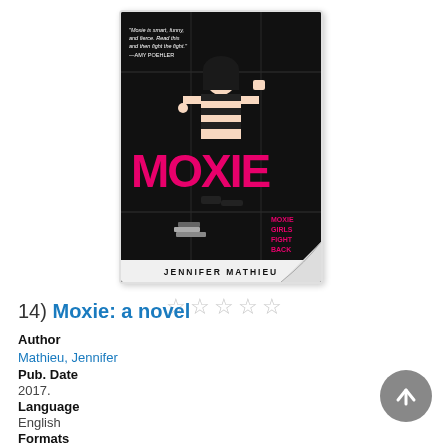[Figure (illustration): Book cover for 'Moxie' by Jennifer Mathieu. Black background with a girl in a striped shirt standing confidently. The title MOXIE is displayed in large pink/magenta letters. Text reads 'Moxie Girls Fight Back'. Author name 'JENNIFER MATHIEU' appears at the bottom.]
[Figure (other): Five empty/outline star rating symbols indicating no rating selected.]
14)  Moxie: a novel
Author
Mathieu, Jennifer
Pub. Date
2017.
Language
English
Formats
Book, eAudiobook
Description
Read Description